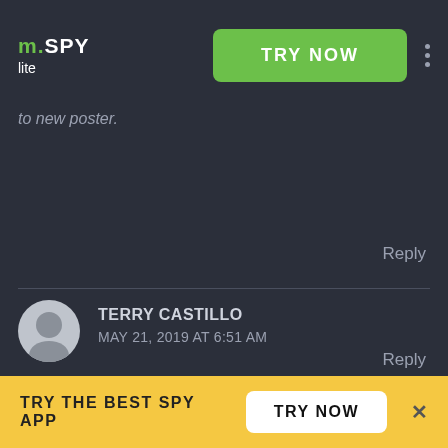mSPY lite — TRY NOW
to new poster.
Reply
TERRY CASTILLO
MAY 21, 2019 AT 6:51 AM
Hi TonyFair,

Yes, We have an official twitter account.
Reply
TRY THE BEST SPY APP  TRY NOW  ✕